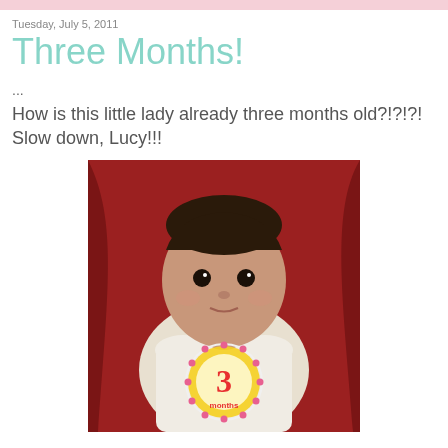Tuesday, July 5, 2011
Three Months!
...
How is this little lady already three months old?!?!?! Slow down, Lucy!!!
[Figure (photo): Baby girl lying on red fabric wearing a white onesie with a '3 months' sticker/badge on it. The badge is circular with pink dots border, yellow ring, and red '3 months' text.]